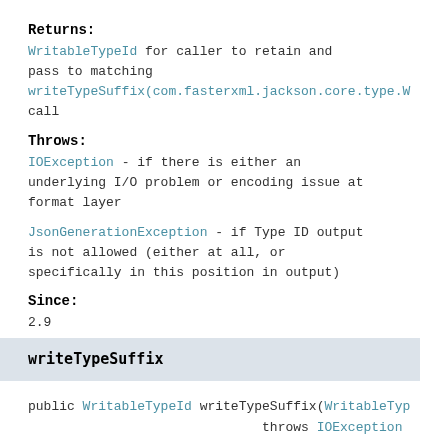Returns:
WritableTypeId for caller to retain and pass to matching writeTypeSuffix(com.fasterxml.jackson.core.type.W call
Throws:
IOException - if there is either an underlying I/O problem or encoding issue at format layer
JsonGenerationException - if Type ID output is not allowed (either at all, or specifically in this position in output)
Since:
2.9
writeTypeSuffix
public WritableTypeId writeTypeSuffix(WritableTyp
                              throws IOException